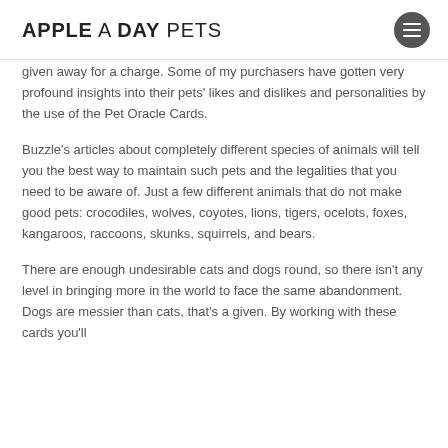APPLE A DAY PETS
given away for a charge. Some of my purchasers have gotten very profound insights into their pets' likes and dislikes and personalities by the use of the Pet Oracle Cards.
Buzzle's articles about completely different species of animals will tell you the best way to maintain such pets and the legalities that you need to be aware of. Just a few different animals that do not make good pets: crocodiles, wolves, coyotes, lions, tigers, ocelots, foxes, kangaroos, raccoons, skunks, squirrels, and bears.
There are enough undesirable cats and dogs round, so there isn't any level in bringing more in the world to face the same abandonment. Dogs are messier than cats, that's a given. By working with these cards you'll